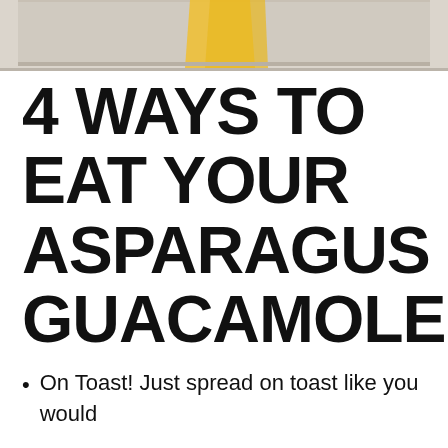[Figure (photo): Partial photo of food on a light background, likely toast with a yellow item (egg or similar topping), cut off at top of page]
4 WAYS TO EAT YOUR ASPARAGUS GUACAMOLE:
On Toast! Just spread on toast like you would